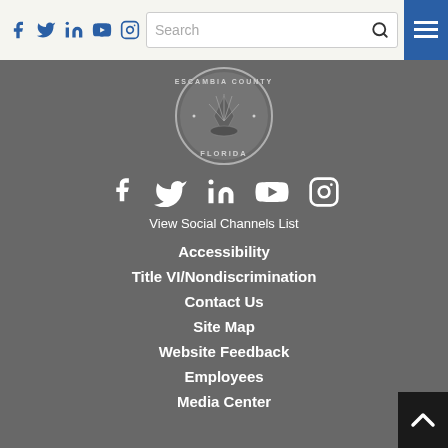Social media icons (Facebook, Twitter, LinkedIn, YouTube, Instagram), Search bar, Hamburger menu
[Figure (logo): Escambia County Florida circular seal/logo in gray tones]
[Figure (infographic): Social media icons: Facebook, Twitter, LinkedIn, YouTube, Instagram in white]
View Social Channels List
Accessibility
Title VI/Nondiscrimination
Contact Us
Site Map
Website Feedback
Employees
Media Center